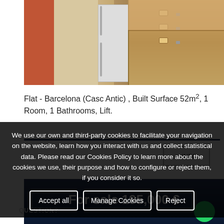[Figure (photo): Interior photo of a flat showing kitchen area with wooden cabinets, white refrigerator, and bar stools on an orange background wall]
Flat - Barcelona (Casc Antic) , Built Surface 52m², 1 Room, 1 Bathrooms, Lift.
For sale 195,000 €
We use our own and third-party cookies to facilitate your navigation on the website, learn how you interact with us and collect statistical data. Please read our Cookies Policy to learn more about the cookies we use, their purpose and how to configure or reject them, if you consider it so.
Accept all
Manage Cookies
Reject
QUESTION?